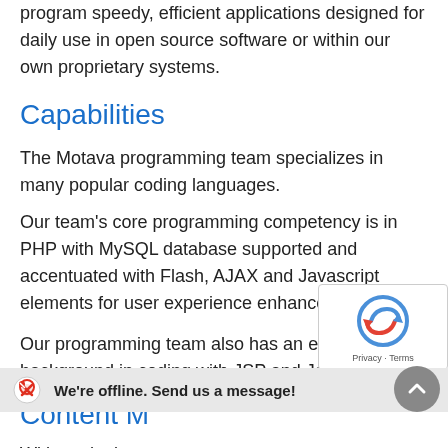program speedy, efficient applications designed for daily use in open source software or within our own proprietary systems.
Capabilities
The Motava programming team specializes in many popular coding languages.
Our team's core programming competency is in PHP with MySQL database supported and accentuated with Flash, AJAX and Javascript elements for user experience enhancements.
Our programming team also has an extensive background in coding with JSP and Java.
Content Management Syst...
With each site...